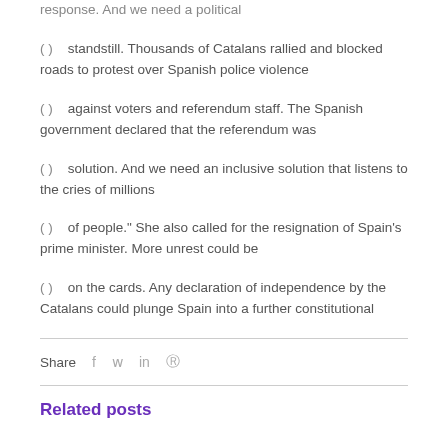response. And we need a political
(  )    standstill. Thousands of Catalans rallied and blocked roads to protest over Spanish police violence
(  )    against voters and referendum staff. The Spanish government declared that the referendum was
(  )    solution. And we need an inclusive solution that listens to the cries of millions
(  )    of people." She also called for the resignation of Spain's prime minister. More unrest could be
(  )    on the cards. Any declaration of independence by the Catalans could plunge Spain into a further constitutional
Share  f  𝕎  in  ℗
Related posts